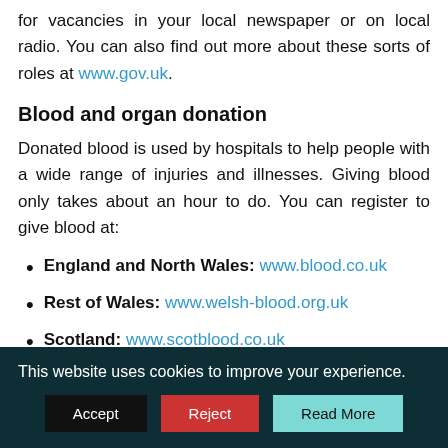for vacancies in your local newspaper or on local radio. You can also find out more about these sorts of roles at www.gov.uk.
Blood and organ donation
Donated blood is used by hospitals to help people with a wide range of injuries and illnesses. Giving blood only takes about an hour to do. You can register to give blood at:
England and North Wales: www.blood.co.uk
Rest of Wales: www.welsh-blood.org.uk
Scotland: www.scotblood.co.uk
Northern Ireland: www.nibts.org
Many people in the UK are waiting for organ
This website uses cookies to improve your experience.